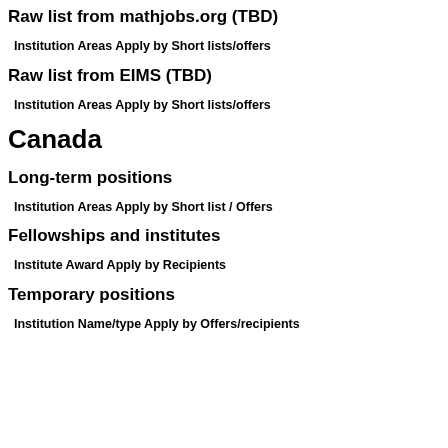Raw list from mathjobs.org (TBD)
Institution Areas Apply by Short lists/offers
Raw list from EIMS (TBD)
Institution Areas Apply by Short lists/offers
Canada
Long-term positions
Institution Areas Apply by Short list / Offers
Fellowships and institutes
Institute Award Apply by Recipients
Temporary positions
Institution Name/type Apply by Offers/recipients